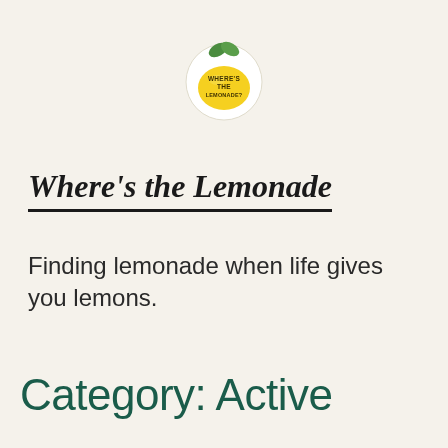[Figure (logo): Lemon-shaped logo with green leaves at top, yellow body, and text 'WHERE'S THE LEMONADE?' written inside in dark brown/olive font, with a white circular border]
Where's the Lemonade
Finding lemonade when life gives you lemons.
Category: Active